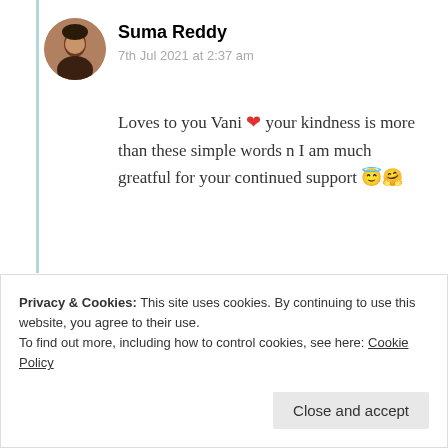[Figure (photo): Circular avatar photo of Suma Reddy, a woman with dark hair]
Suma Reddy
7th Jul 2021 at 2:37 am
Loves to you Vani ❤️ your kindness is more than these simple words n I am much greatful for your continued support 😇🤗
★ Liked by 1 person
Log in to Reply
Privacy & Cookies: This site uses cookies. By continuing to use this website, you agree to their use.
To find out more, including how to control cookies, see here: Cookie Policy
Close and accept